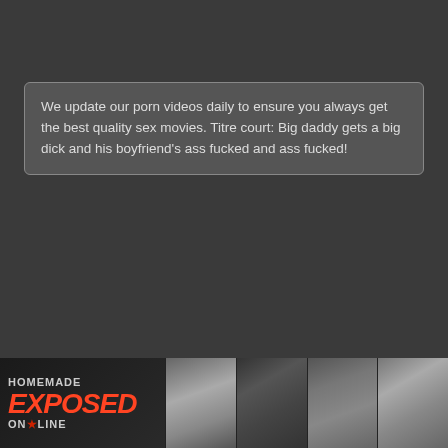We update our porn videos daily to ensure you always get the best quality sex movies. Titre court: Big daddy gets a big dick and his boyfriend's ass fucked and ass fucked!
[Figure (screenshot): Bottom banner showing 'HOMEMADE EXPOSED ONLINE' logo on the left and four thumbnail images of people on the right]